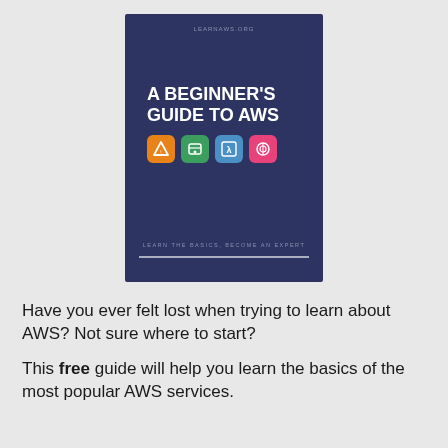[Figure (illustration): Book cover with dark navy background titled 'A BEGINNER'S GUIDE TO AWS' with four colored AWS service icons (orange, green, blue, pink) and tagline 'LEARN THE BASICS, BECOME AN EXPERT'. Website learnaws.org shown at top.]
Have you ever felt lost when trying to learn about AWS? Not sure where to start?
This free guide will help you learn the basics of the most popular AWS services.